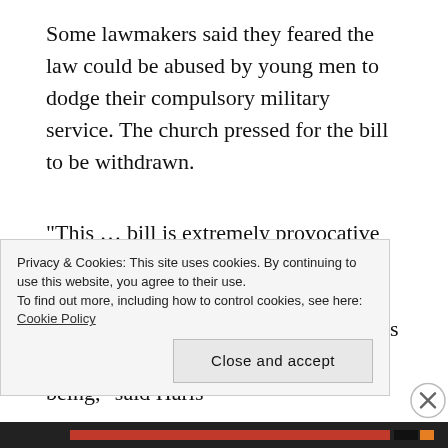Some lawmakers said they feared the law could be abused by young men to dodge their compulsory military service. The church pressed for the bill to be withdrawn.
“This … bill is extremely provocative for the core values of society, threatens to dissolve family as an institution and actually undermines and underestimates the value of each and every human being,” said Haris
Privacy & Cookies: This site uses cookies. By continuing to use this website, you agree to their use. To find out more, including how to control cookies, see here: Cookie Policy
Close and accept